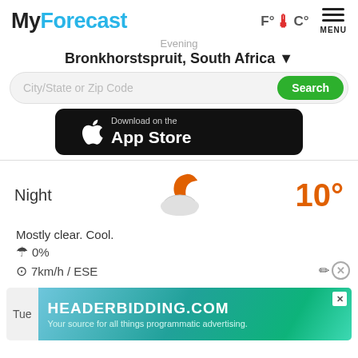MyForecast — F°C° MENU
Evening
Bronkhorstspruit, South Africa ▼
City/State or Zip Code  Search
[Figure (screenshot): Download on the App Store button (black rounded rectangle with Apple logo)]
Night  10°
Mostly clear. Cool.
☂ 0%  ◎7km/h / ESE
[Figure (screenshot): Advertisement banner: HEADERBIDDING.COM — Your source for all things programmatic advertising.]